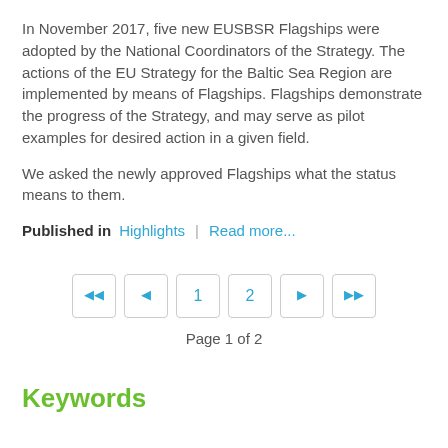In November 2017, five new EUSBSR Flagships were adopted by the National Coordinators of the Strategy. The actions of the EU Strategy for the Baltic Sea Region are implemented by means of Flagships. Flagships demonstrate the progress of the Strategy, and may serve as pilot examples for desired action in a given field.
We asked the newly approved Flagships what the status means to them.
Published in  Highlights | Read more...
Page 1 of 2
Keywords